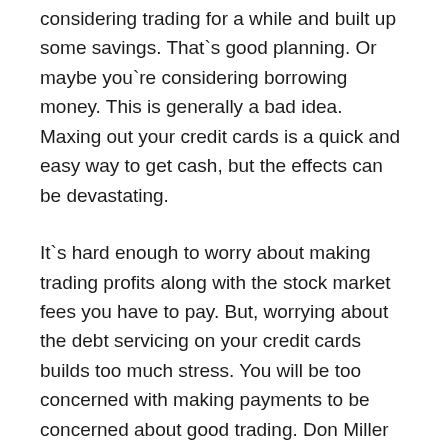considering trading for a while and built up some savings. That`s good planning. Or maybe you`re considering borrowing money. This is generally a bad idea. Maxing out your credit cards is a quick and easy way to get cash, but the effects can be devastating.
It`s hard enough to worry about making trading profits along with the stock market fees you have to pay. But, worrying about the debt servicing on your credit cards builds too much stress. You will be too concerned with making payments to be concerned about good trading. Don Miller talks about this in Trading Markets World Moot the Traders when he tells new traders